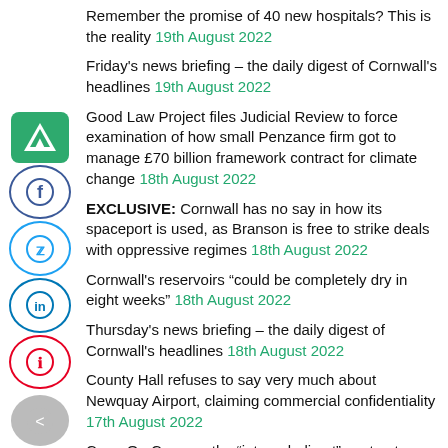Remember the promise of 40 new hospitals? This is the reality 19th August 2022
Friday's news briefing – the daily digest of Cornwall's headlines 19th August 2022
Good Law Project files Judicial Review to force examination of how small Penzance firm got to manage £70 billion framework contract for climate change 18th August 2022
EXCLUSIVE: Cornwall has no say in how its spaceport is used, as Branson is free to strike deals with oppressive regimes 18th August 2022
Cornwall's reservoirs “could be completely dry in eight weeks” 18th August 2022
Thursday's news briefing – the daily digest of Cornwall's headlines 18th August 2022
County Hall refuses to say very much about Newquay Airport, claiming commercial confidentiality 17th August 2022
Carry On Cormac: the “internal, direct” contract worth half a billion pounds that recycles some of the money back to County Hall and shuts out the private sector 17th